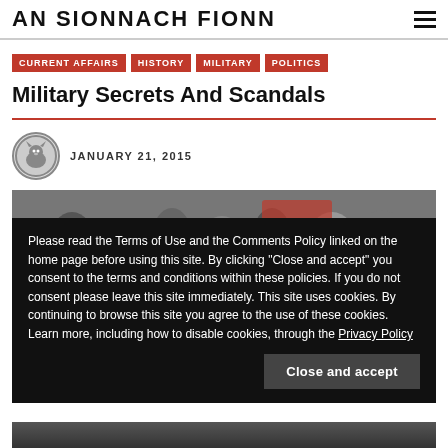AN SIONNACH FIONN
CURRENT AFFAIRS
HISTORY
MILITARY
POLITICS
Military Secrets And Scandals
JANUARY 21, 2015
[Figure (photo): Background photo of people in a crowd/military context, partially obscured by cookie consent overlay]
Please read the Terms of Use and the Comments Policy linked on the home page before using this site. By clicking “Close and accept” you consent to the terms and conditions within these policies. If you do not consent please leave this site immediately. This site uses cookies. By continuing to browse this site you agree to the use of these cookies. Learn more, including how to disable cookies, through the Privacy Policy
Close and accept